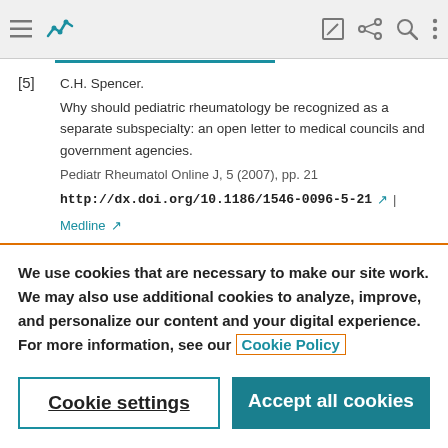Navigation bar with menu, logo, edit, share, search, and more icons
[5] C.H. Spencer. Why should pediatric rheumatology be recognized as a separate subspecialty: an open letter to medical councils and government agencies. Pediatr Rheumatol Online J, 5 (2007), pp. 21 http://dx.doi.org/10.1186/1546-0096-5-21 | Medline
We use cookies that are necessary to make our site work. We may also use additional cookies to analyze, improve, and personalize our content and your digital experience. For more information, see our Cookie Policy
Cookie settings | Accept all cookies